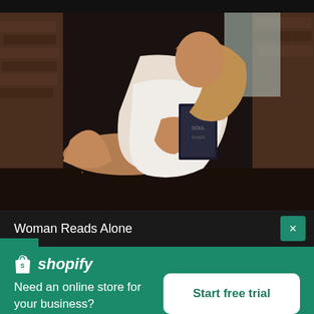[Figure (photo): Woman sitting on a wooden floor against a brick wall, reading a book. She is wearing a white robe/dress, with crossed legs. The photo has a dark, moody aesthetic.]
Woman Reads Alone
[Figure (logo): Shopify logo - white shopping bag icon with the letter S, followed by italic white text 'shopify']
Need an online store for your business?
Start free trial